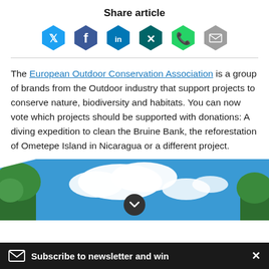Share article
[Figure (infographic): Row of six social media share buttons as hexagon icons: Twitter (light blue), Facebook (dark blue), LinkedIn (medium blue), Xing (dark teal), Phone/WhatsApp (green), Email (gray)]
The European Outdoor Conservation Association is a group of brands from the Outdoor industry that support projects to conserve nature, biodiversity and habitats. You can now vote which projects should be supported with donations: A diving expedition to clean the Bruine Bank, the reforestation of Ometepe Island in Nicaragua or a different project.
[Figure (photo): Outdoor nature photo showing trees on the left and a blue sky with white clouds, partially visible]
Subscribe to newsletter and win